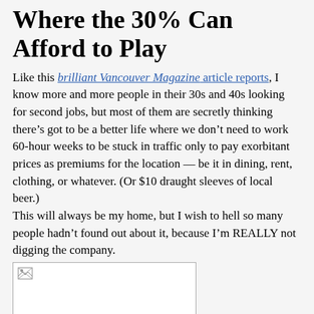Where the 30% Can Afford to Play
Like this brilliant Vancouver Magazine article reports, I know more and more people in their 30s and 40s looking for second jobs, but most of them are secretly thinking there’s got to be a better life where we don’t need to work 60-hour weeks to be stuck in traffic only to pay exorbitant prices as premiums for the location — be it in dining, rent, clothing, or whatever. (Or $10 draught sleeves of local beer.) This will always be my home, but I wish to hell so many people hadn’t found out about it, because I’m REALLY not digging the company.
[Figure (photo): A broken/missing image placeholder shown as a white rectangle with a small broken image icon in the top-left corner.]